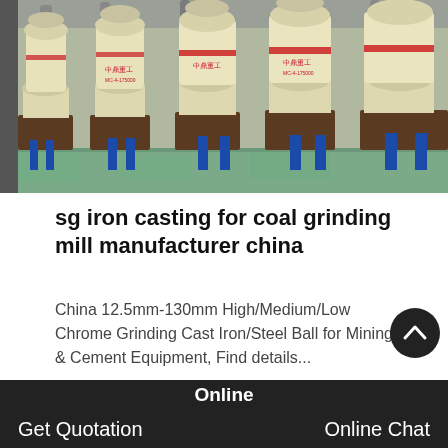[Figure (photo): Row of large industrial coal grinding mill machines in a factory, cream-colored cylindrical bodies with red bands, mounted on blue steel frames on a green factory floor.]
sg iron casting for coal grinding mill manufacturer china
China 12.5mm-130mm High/Medium/Low Chrome Grinding Cast Iron/Steel Ball for Mining & Cement Equipment, Find details...
VIEW MORE
Online  Get Quotation  Online Chat